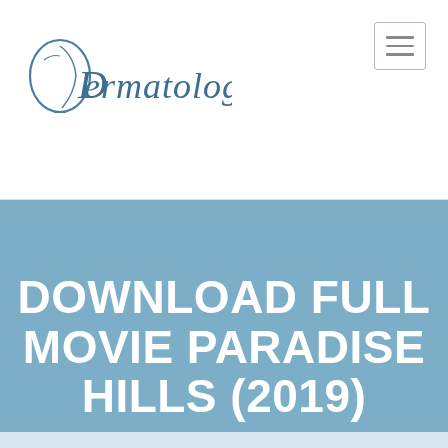[Figure (logo): Dermatologi logo with stylized face profile on the left and cursive/script text 'Dermatologi' in steel blue color]
DOWNLOAD FULL MOVIE PARADISE HILLS (2019)